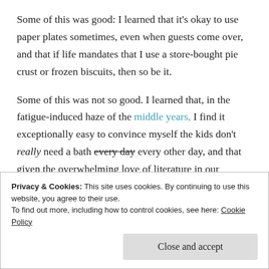Some of this was good: I learned that it's okay to use paper plates sometimes, even when guests come over, and that if life mandates that I use a store-bought pie crust or frozen biscuits, then so be it.
Some of this was not so good. I learned that, in the fatigue-induced haze of the middle years, I find it exceptionally easy to convince myself the kids don't really need a bath every day every other day, and that given the overwhelming love of literature in our household, an hour hours of Baby TV probably won't be too detrimental to the
Privacy & Cookies: This site uses cookies. By continuing to use this website, you agree to their use.
To find out more, including how to control cookies, see here: Cookie Policy